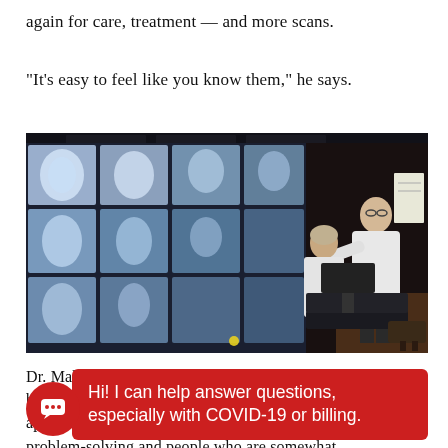again for care, treatment — and more scans.
“It’s easy to feel like you know them,” he says.
[Figure (photo): Two medical professionals in white lab coats reviewing large radiology/nuclear medicine scan images displayed on a large monitor in a dark room. One person is standing and pointing at the screen while the other is seated at a workstation.]
Dr. Mahoney’s interest in radiology and nuclear medicine b... a... appeals to... problem-solving and people who are somewhat
Hi! I can help answer questions, especially with COVID-19 or billing.